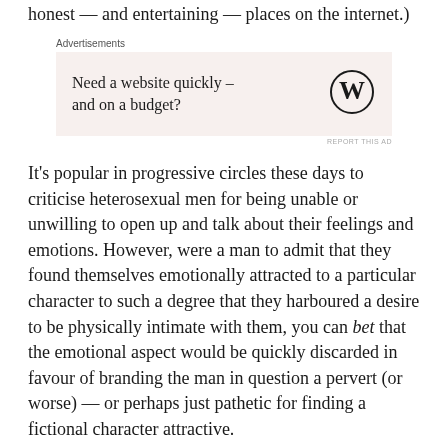honest — and entertaining — places on the internet.)
[Figure (other): Advertisement box with text 'Need a website quickly – and on a budget?' and WordPress logo]
It's popular in progressive circles these days to criticise heterosexual men for being unable or unwilling to open up and talk about their feelings and emotions. However, were a man to admit that they found themselves emotionally attracted to a particular character to such a degree that they harboured a desire to be physically intimate with them, you can bet that the emotional aspect would be quickly discarded in favour of branding the man in question a pervert (or worse) — or perhaps just pathetic for finding a fictional character attractive.
This seems somewhat self-defeating; if you want men to start talking about how they're feeling, you need to then